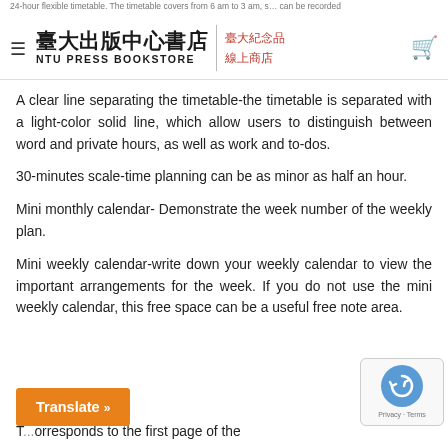臺大出版中心書店 NTU PRESS BOOKSTORE | 臺大紀念品 線上商店
A clear line separating the timetable-the timetable is separated with a light-color solid line, which allow users to distinguish between word and private hours, as well as work and to-dos.
30-minutes scale-time planning can be as minor as half an hour.
Mini monthly calendar- Demonstrate the week number of the weekly plan.
Mini weekly calendar-write down your weekly calendar to view the important arrangements for the week. If you do not use the mini weekly calendar, this free space can be a useful free note area.
T...orresponds to the first page of the